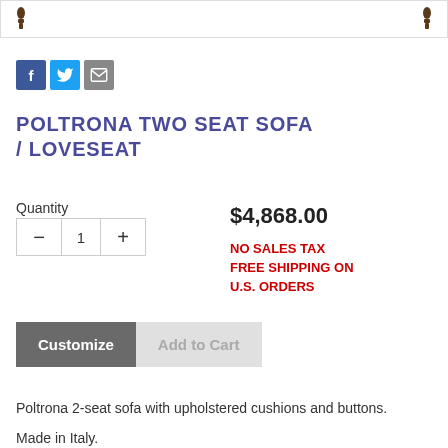[Figure (photo): Top portion of a sofa product image strip showing two small sofa silhouette icons on either side]
[Figure (infographic): Social sharing icons: Facebook (blue F), Twitter (blue bird), Email (grey envelope)]
POLTRONA TWO SEAT SOFA / LOVESEAT
Quantity
$4,868.00
NO SALES TAX FREE SHIPPING ON U.S. ORDERS
Customize   Add to Cart
Poltrona 2-seat sofa with upholstered cushions and buttons.
Made in Italy.